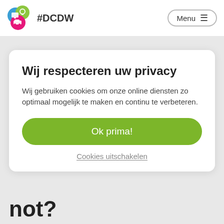[Figure (logo): DCDW logo with three overlapping colored circles (blue, green, pink) containing icons, followed by the text #DCDW]
Menu ≡
Wij respecteren uw privacy
Wij gebruiken cookies om onze online diensten zo optimaal mogelijk te maken en continu te verbeteren.
Ok prima!
Cookies uitschakelen
not?